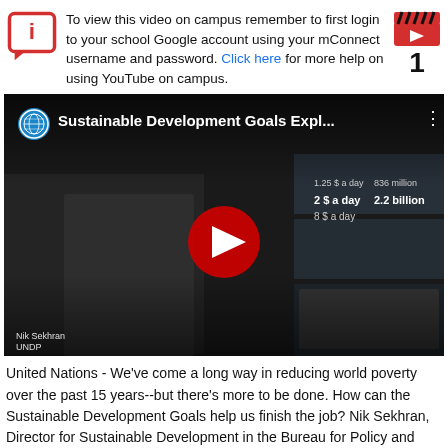To view this video on campus remember to first login to your school Google account using your mConnect username and password. Click here for more help on using YouTube on campus.
[Figure (screenshot): YouTube video embed showing 'Sustainable Development Goals Expl...' with UN logo and play button overlay, featuring Nik Sekhran UNDP]
United Nations - We've come a long way in reducing world poverty over the past 15 years--but there's more to be done. How can the Sustainable Development Goals help us finish the job? Nik Sekhran, Director for Sustainable Development in the Bureau for Policy and Programme Support at the UN Development Programme, gives us the answer.